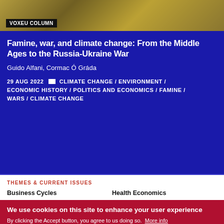[Figure (photo): Close-up photo of dried wheat or grain stalks, yellowish-brown color]
VoxEU COLUMN
Famine, war, and climate change: From the Middle Ages to the Russia-Ukraine War
Guido Alfani, Cormac Ó Gráda
29 AUG 2022  CLIMATE CHANGE / ENVIRONMENT / ECONOMIC HISTORY / POLITICS AND ECONOMICS / FAMINE / WARS / CLIMATE CHANGE
THEMES & CURRENT ISSUES
Business Cycles
Health Economics
We use cookies on this site to enhance your user experience
By clicking the Accept button, you agree to us doing so.  More info
ACCEPT
NO, THANKS